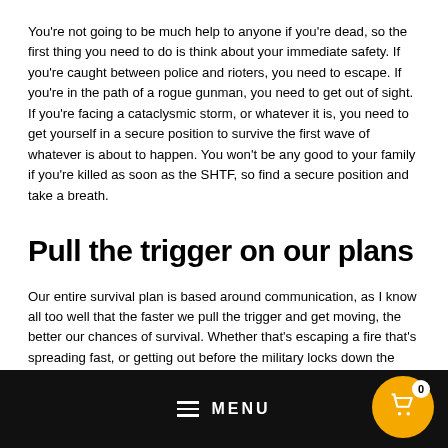You're not going to be much help to anyone if you're dead, so the first thing you need to do is think about your immediate safety. If you're caught between police and rioters, you need to escape. If you're in the path of a rogue gunman, you need to get out of sight. If you're facing a cataclysmic storm, or whatever it is, you need to get yourself in a secure position to survive the first wave of whatever is about to happen. You won't be any good to your family if you're killed as soon as the SHTF, so find a secure position and take a breath.
Pull the trigger on our plans
Our entire survival plan is based around communication, as I know all too well that the faster we pull the trigger and get moving, the better our chances of survival. Whether that's escaping a fire that's spreading fast, or getting out before the military locks down the roads, the quicker you've
MENU  0